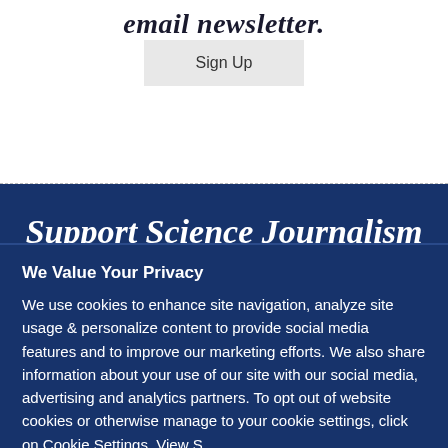email newsletter.
Sign Up
Support Science Journalism
Subscribe Now
We Value Your Privacy
We use cookies to enhance site navigation, analyze site usage & personalize content to provide social media features and to improve our marketing efforts. We also share information about your use of our site with our social media, advertising and analytics partners. To opt out of website cookies or otherwise manage to your cookie settings, click on Cookie Settings. View S